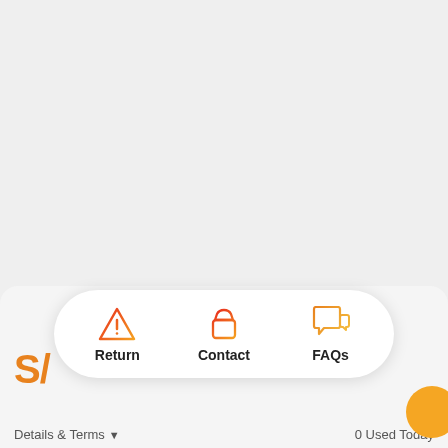[Figure (screenshot): Mobile app UI screenshot showing a bottom navigation/action bar with three buttons: Return (warning triangle icon), Contact (shopping bag icon), FAQs (chat bubble icon). Below this is a card strip with SALE label in red, partial 'SA' text in orange, Details & Terms link, 0 Used Today text, and a partially visible yellow circle.]